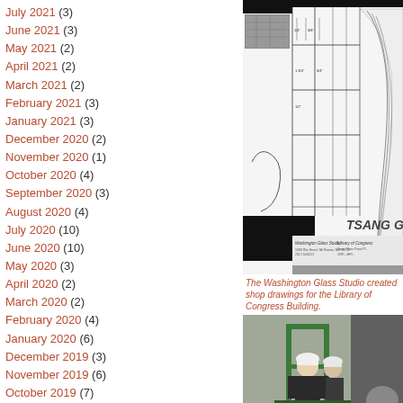July 2021 (3)
June 2021 (3)
May 2021 (2)
April 2021 (2)
March 2021 (2)
February 2021 (3)
January 2021 (3)
December 2020 (2)
November 2020 (1)
October 2020 (4)
September 2020 (3)
August 2020 (4)
July 2020 (10)
June 2020 (10)
May 2020 (3)
April 2020 (2)
March 2020 (2)
February 2020 (4)
January 2020 (6)
December 2019 (3)
November 2019 (6)
October 2019 (7)
September 2019 (11)
August 2019 (4)
July 2019 (5)
June 2019 (6)
May 2019 (9)
[Figure (engineering-diagram): Washington Glass Studio shop drawings for Library of Congress building, showing technical glass panel details with measurements and a figure outline]
The Washington Glass Studio created shop drawings for the Library of Congress Building.
[Figure (photo): Workers in hard hats on green scaffolding/lift platform at a construction or installation site]